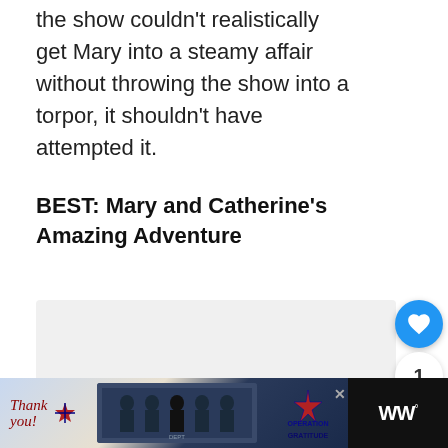the show couldn't realistically get Mary into a steamy affair without throwing the show into a torpor, it shouldn't have attempted it.
BEST: Mary and Catherine's Amazing Adventure
[Figure (photo): Image area placeholder (light gray), with UI overlay elements: a blue heart/like button, a count of 1, and a share button on the right side. A 'What's Next' card in the bottom-right corner with a thumbnail and text 'All About The Latest Seas...']
[Figure (photo): Advertisement banner at the bottom: 'Thank you!' handwritten text with a star/flag graphic, group photo of people in uniform, Operation Gratitude logo. TV network logo on the right (dark background).]